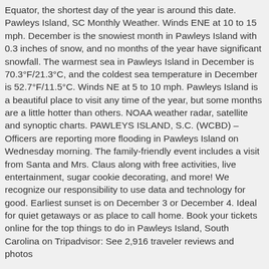Equator, the shortest day of the year is around this date. Pawleys Island, SC Monthly Weather. Winds ENE at 10 to 15 mph. December is the snowiest month in Pawleys Island with 0.3 inches of snow, and no months of the year have significant snowfall. The warmest sea in Pawleys Island in December is 70.3°F/21.3°C, and the coldest sea temperature in December is 52.7°F/11.5°C. Winds NE at 5 to 10 mph. Pawleys Island is a beautiful place to visit any time of the year, but some months are a little hotter than others. NOAA weather radar, satellite and synoptic charts. PAWLEYS ISLAND, S.C. (WCBD) – Officers are reporting more flooding in Pawleys Island on Wednesday morning. The family-friendly event includes a visit from Santa and Mrs. Claus along with free activities, live entertainment, sugar cookie decorating, and more! We recognize our responsibility to use data and technology for good. Earliest sunset is on December 3 or December 4. Ideal for quiet getaways or as place to call home. Book your tickets online for the top things to do in Pawleys Island, South Carolina on Tripadvisor: See 2,916 traveler reviews and photos